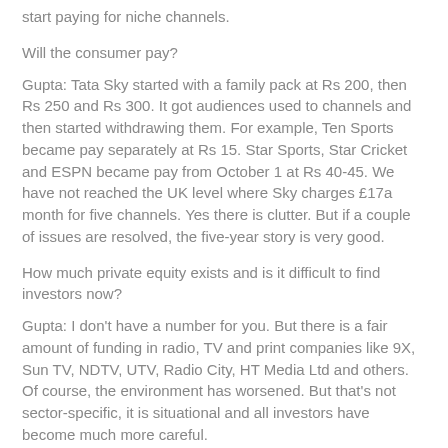start paying for niche channels.
Will the consumer pay?
Gupta: Tata Sky started with a family pack at Rs 200, then Rs 250 and Rs 300. It got audiences used to channels and then started withdrawing them. For example, Ten Sports became pay separately at Rs 15. Star Sports, Star Cricket and ESPN became pay from October 1 at Rs 40-45. We have not reached the UK level where Sky charges £17a month for five channels. Yes there is clutter. But if a couple of issues are resolved, the five-year story is very good.
How much private equity exists and is it difficult to find investors now?
Gupta: I don't have a number for you. But there is a fair amount of funding in radio, TV and print companies like 9X, Sun TV, NDTV, UTV, Radio City, HT Media Ltd and others. Of course, the environment has worsened. But that's not sector-specific, it is situational and all investors have become much more careful.